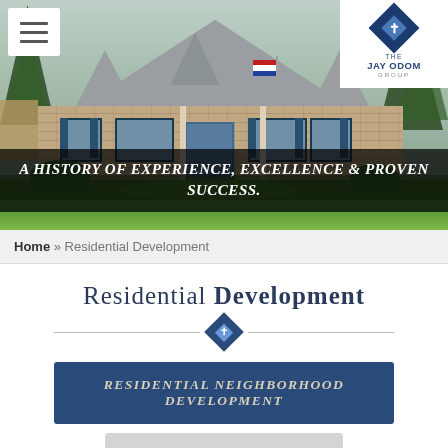[Figure (photo): Hero image of a residential home (brick and siding, craftsman style) with lush green lawn and landscaping. American flag visible. Dark semi-transparent overlay with italic text.]
A history of experience, excellence & proven success.
Home » Residential Development
Residential Development
Residential Neighborhood Development
Resort Development